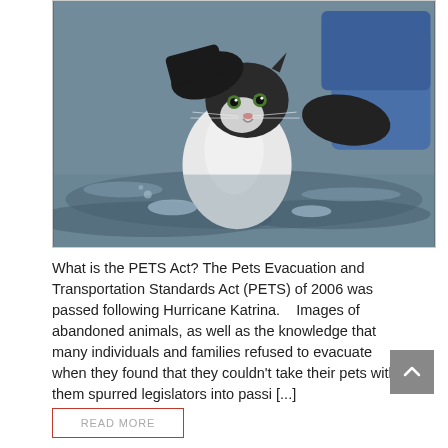[Figure (photo): A black and white cat being rescued from flood water by gloved hands. The cat is partially submerged, with water splashing around it. A person in blue jeans and dark gloves holds the cat.]
What is the PETS Act? The Pets Evacuation and Transportation Standards Act (PETS) of 2006 was passed following Hurricane Katrina.    Images of abandoned animals, as well as the knowledge that many individuals and families refused to evacuate when they found that they couldn't take their pets with them spurred legislators into passi [...]